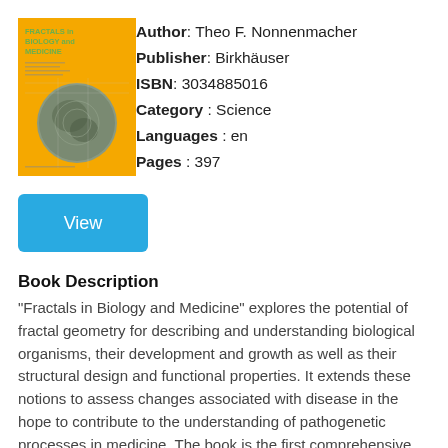[Figure (illustration): Book cover of 'Fractals in Biology and Medicine' with yellow/orange background and circular fractal image]
Author: Theo F. Nonnenmacher
Publisher: Birkhäuser
ISBN: 3034885016
Category : Science
Languages : en
Pages : 397
View
Book Description
"Fractals in Biology and Medicine" explores the potential of fractal geometry for describing and understanding biological organisms, their development and growth as well as their structural design and functional properties. It extends these notions to assess changes associated with disease in the hope to contribute to the understanding of pathogenetic processes in medicine. The book is the first comprehensive presentation of the importance of the new concept of fractal geometry for biological and medical sciences. It collates in a logical sequence